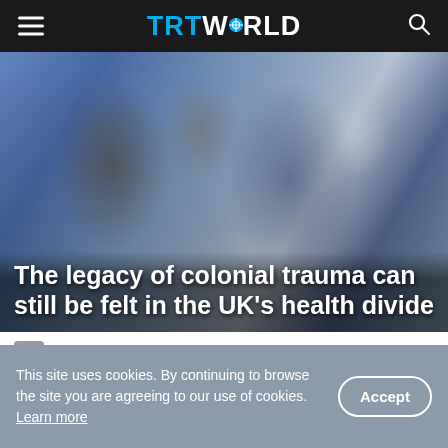TRT WORLD
[Figure (photo): Blurred photo of medical workers in a clinical setting, used as hero image background]
The legacy of colonial trauma can still be felt in the UK's health divide
NAFEES MAHMUD • 7 OCT 2021
SHARE [social icons: Facebook, Twitter, LinkedIn, Reddit, Email, WhatsApp]
This site uses cookies. By continuing to browse the site you are agreeing to our use of cookies. Learn more